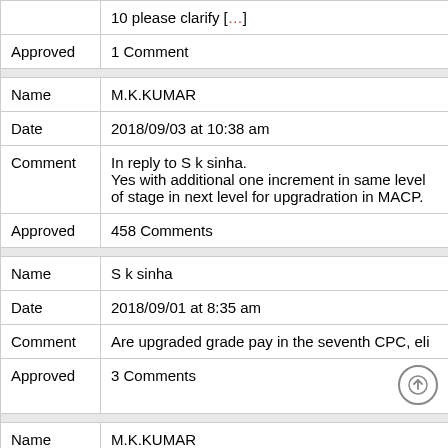|  | 10 please clarify [...] |
| Approved | 1 Comment |
| Name | M.K.KUMAR |
| Date | 2018/09/03 at 10:38 am |
| Comment | In reply to S k sinha.
Yes with additional one increment in same level of stage in next level for upgradration in MACP. |
| Approved | 458 Comments |
| Name | S k sinha |
| Date | 2018/09/01 at 8:35 am |
| Comment | Are upgraded grade pay in the seventh CPC, eli |
| Approved | 3 Comments |
| Name | M.K.KUMAR |